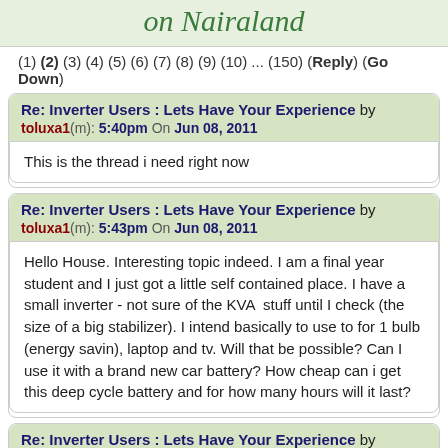on Nairaland
(1) (2) (3) (4) (5) (6) (7) (8) (9) (10) ... (150) (Reply) (Go Down)
Re: Inverter Users : Lets Have Your Experience by toluxa1(m): 5:40pm On Jun 08, 2011
This is the thread i need right now
Re: Inverter Users : Lets Have Your Experience by toluxa1(m): 5:43pm On Jun 08, 2011
Hello House. Interesting topic indeed. I am a final year student and I just got a little self contained place. I have a small inverter - not sure of the KVA  stuff until I check (the size of a big stabilizer). I intend basically to use to for 1 bulb (energy savin), laptop and tv. Will that be possible? Can I use it with a brand new car battery? How cheap can i get this deep cycle battery and for how many hours will it last?
Re: Inverter Users : Lets Have Your Experience by darez(m): 5:51pm On Jun 08, 2011